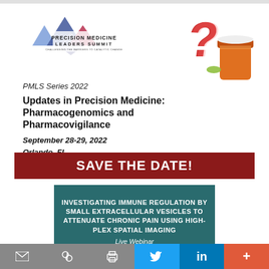[Figure (logo): Precision Medicine Leaders Summit logo with mountain triangle shapes in blue/purple/red and a red question mark with pill capsules and orange medicine bottle]
PMLS Series 2022
Updates in Precision Medicine: Pharmacogenomics and Pharmacovigilance
September 28-29, 2022
Orlando, FL
SAVE THE DATE!
[Figure (infographic): Teal/dark green box with white text: INVESTIGATING IMMUNE REGULATION BY SMALL EXTRACELLULAR VESICLES TO ATTENUATE CHRONIC PAIN USING HIGH-PLEX SPATIAL IMAGING. Live Webinar September 21 - 2 PM ET]